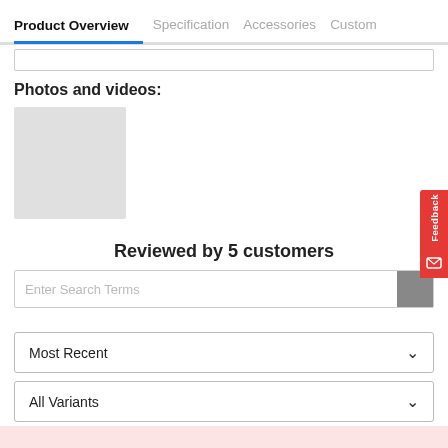Product Overview | Specification | Accessories | Custom
Photos and videos:
[Figure (photo): Gray placeholder image thumbnail]
Reviewed by 5 customers
Enter Search Terms
Most Recent
All Variants